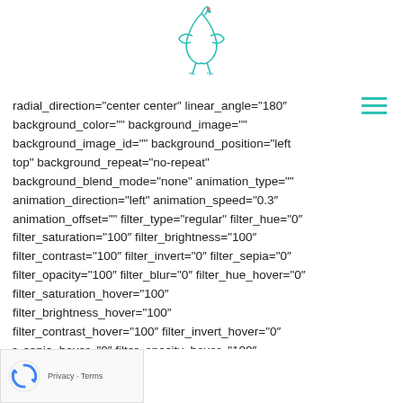[Figure (logo): Teal/green bird logo (heron or similar) on white background, centered at top of page]
radial_direction="center center" linear_angle="180″ background_color="" background_image="" background_image_id="" background_position="left top" background_repeat="no-repeat" background_blend_mode="none" animation_type="" animation_direction="left" animation_speed="0.3″ animation_offset="" filter_type="regular" filter_hue="0″ filter_saturation="100″ filter_brightness="100″ filter_contrast="100″ filter_invert="0″ filter_sepia="0″ filter_opacity="100″ filter_blur="0″ filter_hue_hover="0″ filter_saturation_hover="100″ filter_brightness_hover="100″ filter_contrast_hover="100″ filter_invert_hover="0″ r_sepia_hover="0″ filter_opacity_hover="100″ r_blur_hover="0″ last="true" first="true"][fusion_text columns="" column_min_width="" column_spacing=""
[Figure (other): reCAPTCHA widget with Privacy-Terms link in bottom left corner]